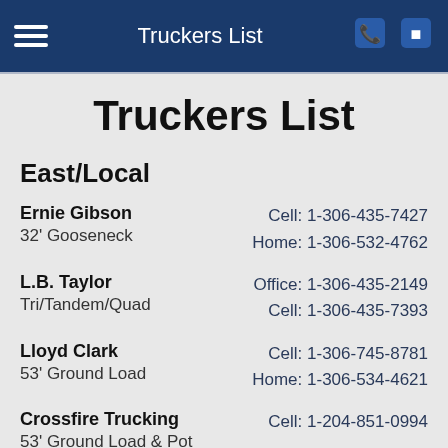Truckers List
Truckers List
East/Local
Ernie Gibson | 32' Gooseneck | Cell: 1-306-435-7427 | Home: 1-306-532-4762
L.B. Taylor | Tri/Tandem/Quad | Office: 1-306-435-2149 | Cell: 1-306-435-7393
Lloyd Clark | 53' Ground Load | Cell: 1-306-745-8781 | Home: 1-306-534-4621
Crossfire Trucking | 53' Ground Load & Pot | Cell: 1-204-851-0994